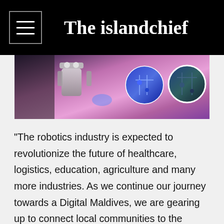The islandchief
[Figure (photo): A robot and circular displays with colorful electronics, lit with purple/pink lighting at what appears to be a technology event]
“The robotics industry is expected to revolutionize the future of healthcare, logistics, education, agriculture and many more industries. As we continue our journey towards a Digital Maldives, we are gearing up to connect local communities to the benefits of these emerging technologies. Today, we are excited to partner with Roboy, The Eco Org & VR Café be a part of this historic event in the Maldives that showcases the transformative power of Ooredoo 5G services. We look forward to future events together with the mutual aim to inspire the next generation